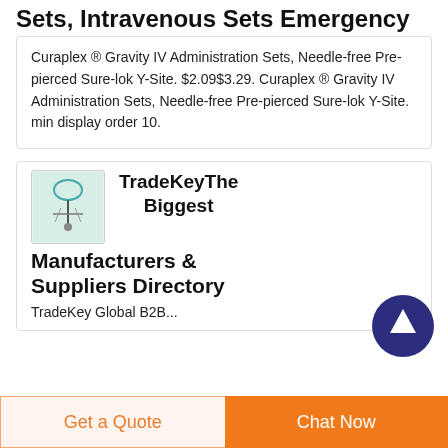Sets, Intravenous Sets Emergency
Curaplex ® Gravity IV Administration Sets, Needle-free Pre-pierced Sure-lok Y-Site. $2.09$3.29. Curaplex ® Gravity IV Administration Sets, Needle-free Pre-pierced Sure-lok Y-Site. min display order 10.
[Figure (photo): Product image of IV tubing/administration set for TradeKey listing]
TradeKeyThe Biggest Manufacturers & Suppliers Directory
TradeKey Global B2B...
Get a Quote | Chat Now